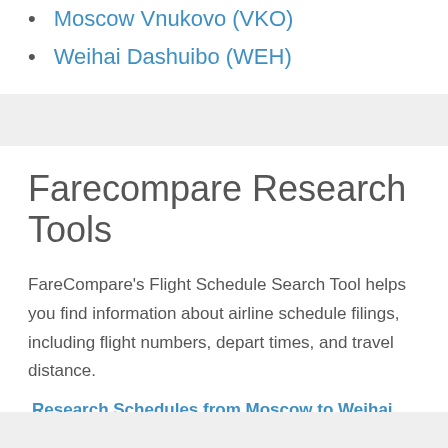Moscow Vnukovo (VKO)
Weihai Dashuibo (WEH)
Farecompare Research Tools
FareCompare's Flight Schedule Search Tool helps you find information about airline schedule filings, including flight numbers, depart times, and travel distance.
Research Schedules from Moscow to Weihai